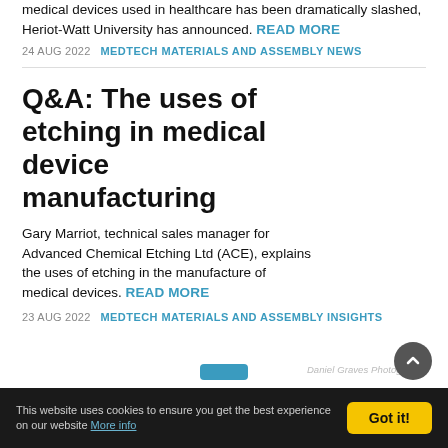medical devices used in healthcare has been dramatically slashed, Heriot-Watt University has announced. READ MORE
24 AUG 2022   MEDTECH MATERIALS AND ASSEMBLY NEWS
Q&A: The uses of etching in medical device manufacturing
Gary Marriot, technical sales manager for Advanced Chemical Etching Ltd (ACE), explains the uses of etching in the manufacture of medical devices. READ MORE
23 AUG 2022   MEDTECH MATERIALS AND ASSEMBLY INSIGHTS
This website uses cookies to ensure you get the best experience on our website More info   Got it!